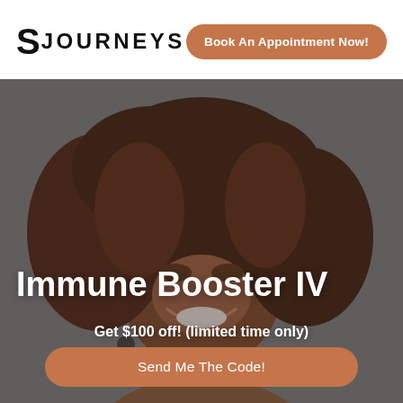S JOURNEYS
Book An Appointment Now!
[Figure (photo): Smiling woman with curly auburn hair against a grey background, used as hero image for Immune Booster IV promotion]
Immune Booster IV
Get $100 off! (limited time only)
Send Me The Code!